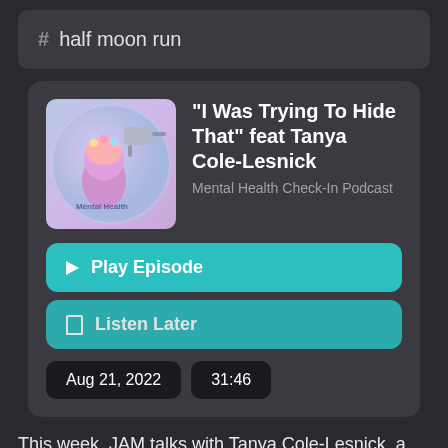# half moon run
"I Was Trying To Hide That" feat Tanya Cole-Lesnick
Mental Health Check-In Podcast
▶ Play Episode
☐ Listen Later
Aug 21, 2022
31:46
This week, JAM talks with Tanya Cole-Lesnick, a therapist who does both individual and group sessions and who pioneered "The One Agreement," a shorthand she uses with patients to help them live